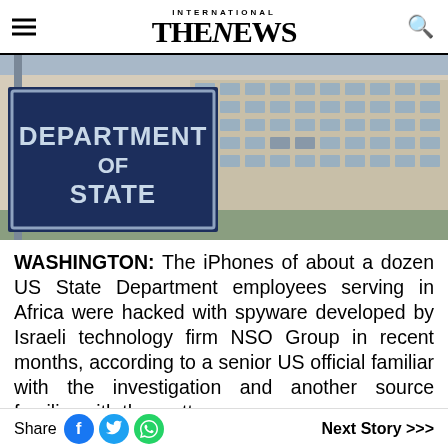INTERNATIONAL THE NEWS
[Figure (photo): Exterior photo of the US Department of State building with the department sign in the foreground, showing a large multi-story beige government building.]
WASHINGTON: The iPhones of about a dozen US State Department employees serving in Africa were hacked with spyware developed by Israeli technology firm NSO Group in recent months, according to a senior US official familiar with the investigation and another source familiar with the matter.
Share   Next Story >>>